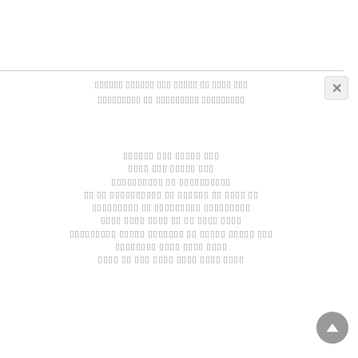ꀀꀀꀀꀀꀀꀀ ꀀꀀꀀꀀꀀꀀ ꀀꀀꀀ ꀀꀀꀀꀀꀀ ꀀꀀ ꀀꀀꀀꀀ ꀀꀀꀀ ꀀꀀꀀꀀꀀꀀꀀꀀꀀ ꀀꀀ ꀀꀀꀀꀀꀀꀀꀀꀀꀀ ꀀꀀꀀꀀꀀꀀꀀꀀꀀ
ꀀꀀꀀꀀꀀꀀ ꀀꀀꀀ ꀀꀀꀀꀀꀀ ꀀꀀꀀ
ꀀꀀꀀꀀ ꀀꀀꀀ ꀀꀀꀀꀀꀀ ꀀꀀꀀ
ꀀꀀꀀꀀꀀꀀꀀꀀꀀꀀ ꀀꀀ ꀀꀀꀀꀀꀀꀀꀀꀀꀀꀀ
ꀀꀀ ꀀꀀ ꀀꀀꀀꀀꀀꀀꀀꀀꀀꀀ ꀀꀀ ꀀꀀꀀꀀꀀꀀ ꀀꀀ ꀀꀀꀀꀀ ꀀꀀ
ꀀꀀꀀꀀꀀꀀꀀꀀꀀ ꀀꀀ ꀀꀀꀀꀀꀀꀀꀀꀀꀀ ꀀꀀꀀꀀꀀꀀꀀꀀꀀ
ꀀꀀꀀꀀ ꀀꀀꀀꀀ ꀀꀀꀀꀀ ꀀꀀ ꀀꀀ ꀀꀀꀀꀀ ꀀꀀꀀꀀ
ꀀꀀꀀꀀꀀꀀꀀꀀꀀ ꀀꀀꀀꀀꀀ ꀀꀀꀀꀀꀀꀀꀀ ꀀꀀ ꀀꀀꀀꀀꀀ ꀀꀀꀀꀀꀀ ꀀꀀꀀ
ꀀꀀꀀꀀꀀꀀꀀꀀ ꀀꀀꀀꀀ ꀀꀀꀀꀀ ꀀꀀꀀꀀ
ꀀꀀꀀꀀ ꀀꀀ ꀀꀀꀀ ꀀꀀꀀꀀ ꀀꀀꀀꀀ ꀀꀀꀀꀀ ꀀꀀꀀꀀ